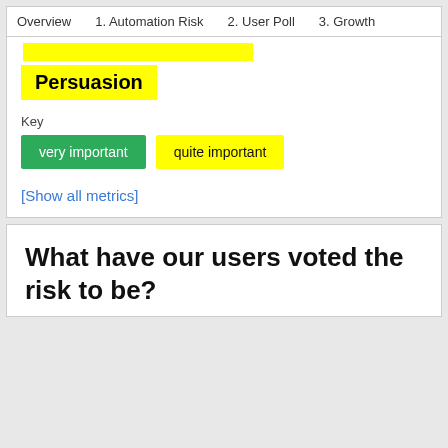Overview   1. Automation Risk   2. User Poll   3. Growth
[Figure (other): Yellow highlighted bar, partial width]
Persuasion
Key
very important   quite important
[Show all metrics]
What have our users voted the risk to be?